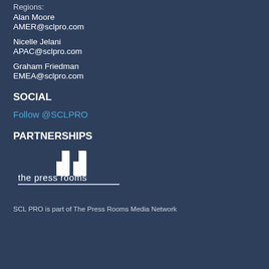Regions:
Alan Moore
AMER@sclpro.com
Nicelle Jelani
APAC@sclpro.com
Graham Friedman
EMEA@sclpro.com
SOCIAL
Follow @SCLPRO
PARTNERSHIPS
[Figure (logo): The Press Rooms logo — two white quotation mark pillars above the text 'the press rooms' with a horizontal underline]
SCL PRO is part of The Press Rooms Media Network